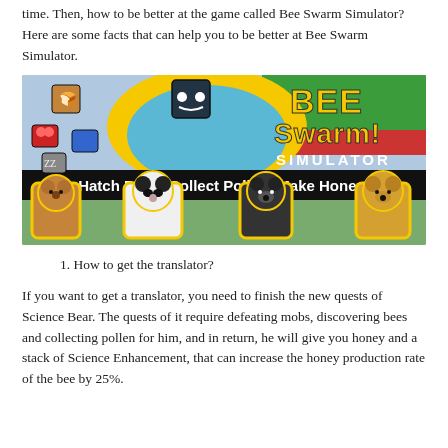time. Then, how to be better at the game called Bee Swarm Simulator? Here are some facts that can help you to be better at Bee Swarm Simulator.
[Figure (illustration): Bee Swarm Simulator game banner showing cartoon bee characters, bears (brown bear, panda, black bear, gold bear) with yellow outlines, and text 'BEE Swarm! SIMULATOR' and 'Hatch Bees! Collect Pollen! Make Honey!']
1. How to get the translator?
If you want to get a translator, you need to finish the new quests of Science Bear. The quests of it require defeating mobs, discovering bees and collecting pollen for him, and in return, he will give you honey and a stack of Science Enhancement, that can increase the honey production rate of the bee by 25%.